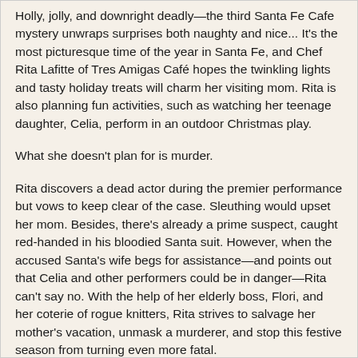Holly, jolly, and downright deadly—the third Santa Fe Cafe mystery unwraps surprises both naughty and nice... It's the most picturesque time of the year in Santa Fe, and Chef Rita Lafitte of Tres Amigas Café hopes the twinkling lights and tasty holiday treats will charm her visiting mom. Rita is also planning fun activities, such as watching her teenage daughter, Celia, perform in an outdoor Christmas play.
What she doesn't plan for is murder.
Rita discovers a dead actor during the premier performance but vows to keep clear of the case. Sleuthing would upset her mom. Besides, there's already a prime suspect, caught red-handed in his bloodied Santa suit. However, when the accused Santa's wife begs for assistance—and points out that Celia and other performers could be in danger—Rita can't say no. With the help of her elderly boss, Flori, and her coterie of rogue knitters, Rita strives to salvage her mother's vacation, unmask a murderer, and stop this festive season from turning even more fatal.